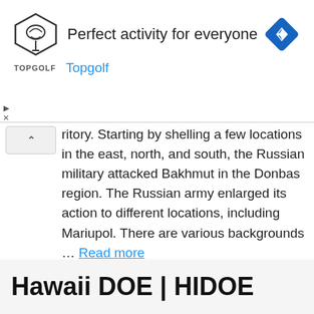[Figure (screenshot): Advertisement banner for Topgolf: logo shield with bird, text 'Perfect activity for everyone', blue link 'Topgolf', blue diamond navigation icon on right.]
ritory. Starting by shelling a few locations in the east, north, and south, the Russian military attacked Bakhmut in the Donbas region. The Russian army enlarged its action to different locations, including Mariupol. There are various backgrounds … Read more
Computing
Leave a comment
Hawaii DOE | HIDOE